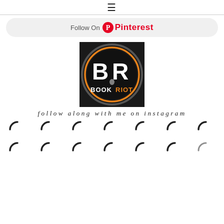≡ (hamburger menu icon)
[Figure (logo): Follow On Pinterest button with Pinterest logo and wordmark in red on light gray rounded rectangle background]
[Figure (logo): Book Riot logo: circular black badge with orange ring, white BR letters and BOOKRIOT text with orange accent]
follow along with me on instagram
[Figure (other): Two rows of 7 loading spinner icons (partial circle arcs) indicating Instagram feed loading placeholders]